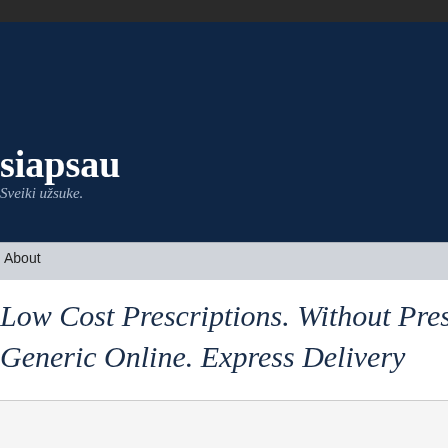siapsau
Sveiki užsuke.
About
Low Cost Prescriptions. Without Prescripti… Generic Online. Express Delivery